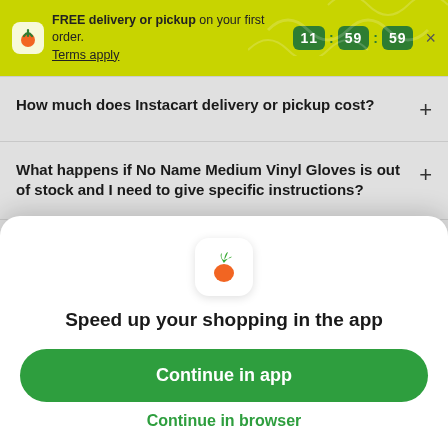FREE delivery or pickup on your first order. Terms apply
11 : 59 : 59
How much does Instacart delivery or pickup cost?
What happens if No Name Medium Vinyl Gloves is out of stock and I need to give specific instructions?
What happens if there is an issue with my
Speed up your shopping in the app
Continue in app
Continue in browser